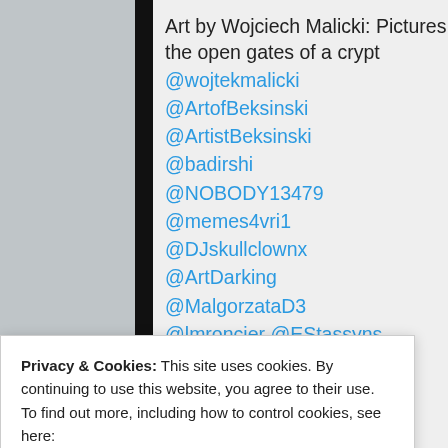[Figure (screenshot): Screenshot of a tweet/social media post with a black-and-white foggy landscape photo. The tweet shows text 'Art by Wojciech Malicki: Pictures like the open gates of a crypt' followed by multiple @mentions, and shows 1 comment and 8 likes icons.]
Art by Wojciech Malicki: Pictures like the open gates of a crypt @wojtekmalicki @ArtofBeksinski @ArtistBeksinski @badirshi @NOBODY13479 @memes4vri1 @DJskullclownx @ArtDarking @MalgorzataD3 @lmroncier @EStassyns
Privacy & Cookies: This site uses cookies. By continuing to use this website, you agree to their use.
To find out more, including how to control cookies, see here:
Cookie Policy
the Mirror)" – WL//WH